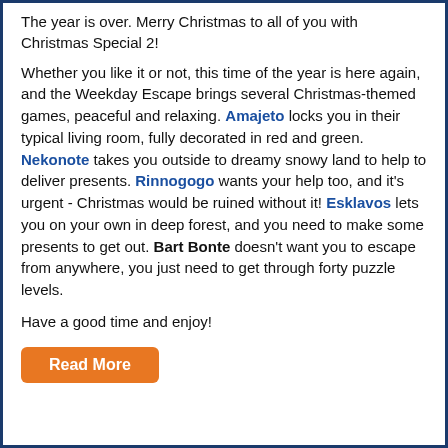The year is over. Merry Christmas to all of you with Christmas Special 2!
Whether you like it or not, this time of the year is here again, and the Weekday Escape brings several Christmas-themed games, peaceful and relaxing. Amajeto locks you in their typical living room, fully decorated in red and green. Nekonote takes you outside to dreamy snowy land to help to deliver presents. Rinnogogo wants your help too, and it's urgent - Christmas would be ruined without it! Esklavos lets you on your own in deep forest, and you need to make some presents to get out. Bart Bonte doesn't want you to escape from anywhere, you just need to get through forty puzzle levels.
Have a good time and enjoy!
Read More